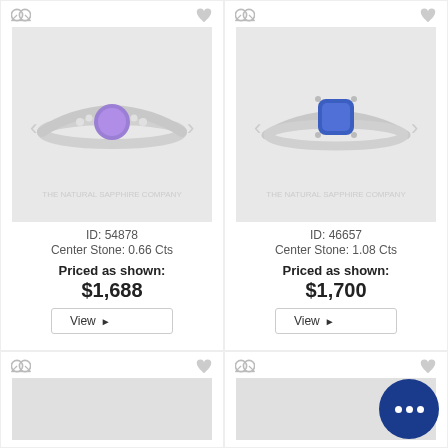[Figure (photo): Silver ring with purple center stone and diamond accents on band, watermarked 'The Natural Sapphire Company']
ID: 54878
Center Stone: 0.66 Cts
Priced as shown:
$1,688
View ▶
[Figure (photo): Silver ring with blue cushion-cut center stone, watermarked 'The Natural Sapphire Company']
ID: 46657
Center Stone: 1.08 Cts
Priced as shown:
$1,700
View ▶
[Figure (photo): Partial view of another ring product card (bottom row, left)]
[Figure (photo): Partial view of another ring product card (bottom row, right)]